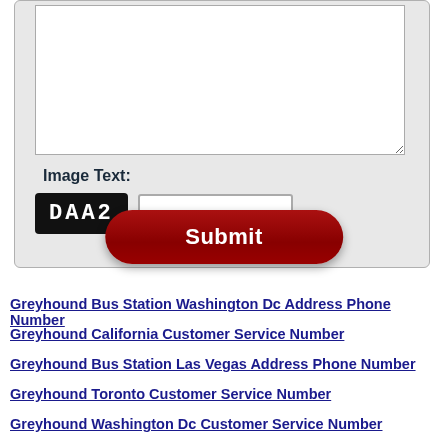[Figure (screenshot): Web form with textarea, CAPTCHA image showing 'DAA2', a text input field, and a dark red Submit button, all inside a rounded gray container]
Greyhound Bus Station Washington Dc Address Phone Number
Greyhound California Customer Service Number
Greyhound Bus Station Las Vegas Address Phone Number
Greyhound Toronto Customer Service Number
Greyhound Washington Dc Customer Service Number